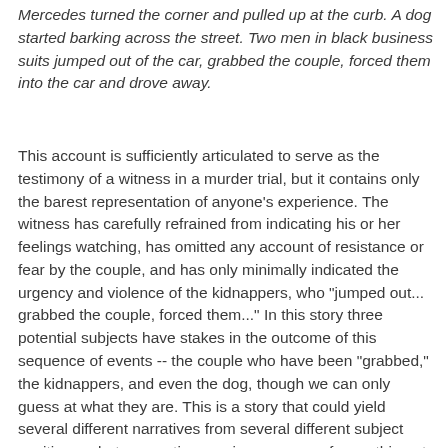Mercedes turned the corner and pulled up at the curb. A dog started barking across the street. Two men in black business suits jumped out of the car, grabbed the couple, forced them into the car and drove away.
This account is sufficiently articulated to serve as the testimony of a witness in a murder trial, but it contains only the barest representation of anyone's experience. The witness has carefully refrained from indicating his or her feelings watching, has omitted any account of resistance or fear by the couple, and has only minimally indicated the urgency and violence of the kidnappers, who "jumped out... grabbed the couple, forced them..." In this story three potential subjects have stakes in the outcome of this sequence of events -- the couple who have been "grabbed," the kidnappers, and even the dog, though we can only guess at what they are. This is a story that could yield several different narratives from several different subject positions -- but a narrative requires a sense of something at stake for somebody in some particular subject position, which is what characterizes the stake. It is this sense of stake that should be taken as the center of narrative. To articulate the meaning